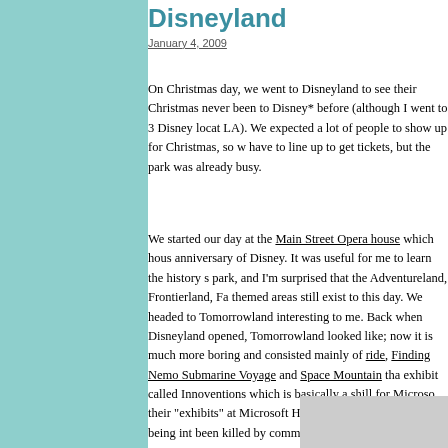Disneyland
January 4, 2009
On Christmas day, we went to Disneyland to see their Christmas... never been to Disney* before (although I went to 3 Disney loca... LA). We expected a lot of people to show up for Christmas, so w... have to line up to get tickets, but the park was already busy.
We started our day at the Main Street Opera house which hous... anniversary of Disney. It was useful for me to learn the history s... park, and I'm surprised that the Adventureland, Frontierland, Fa... themed areas still exist to this day. We headed to Tomorrowlan... interesting to me. Back when Disneyland opened, Tomorrowlan... looked like; now it is much more boring and consisted mainly of... ride, Finding Nemo Submarine Voyage and Space Mountain tha... exhibit called Innoventions which is basically a shill for Microso... their "exhibits" at Microsoft Home in 2004. Instead of being int... been killed by commercialism.
[Figure (photo): Photo at bottom of page, partially visible]